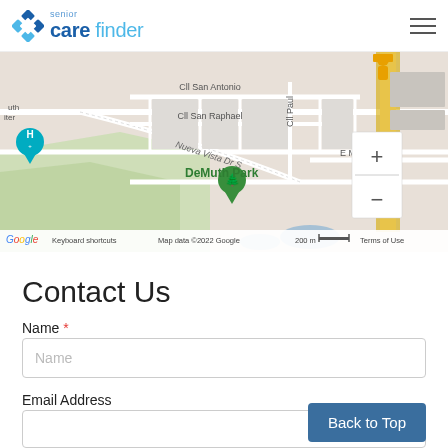senior care finder
[Figure (map): Google Maps screenshot showing DeMuth Park area in Palm Springs, CA. Streets visible include Cll San Antonio, Cll San Raphael, Nueva Vista Dr S, Cll Paul, and E Mesquite Ave. A green map pin marks DeMuth Park. Map controls (zoom in/out) visible on right. Footer shows: Keyboard shortcuts, Map data ©2022 Google, 200 m scale, Terms of Use.]
Contact Us
Name *
Email Address
Back to Top